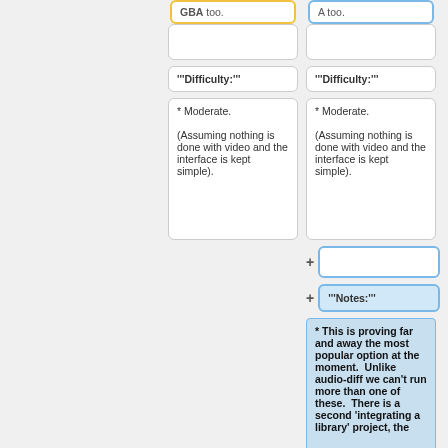GBA too.
A too.
'''Difficulty:'''
'''Difficulty:'''
* Moderate. (Assuming nothing is done with video and the interface is kept simple).
* Moderate. (Assuming nothing is done with video and the interface is kept simple).
'''Notes:'''
* This is proving far and away the most popular option at the moment.  Unlike audio-diff we can't run more than one of these.  There is a second 'integrating a library' project, the